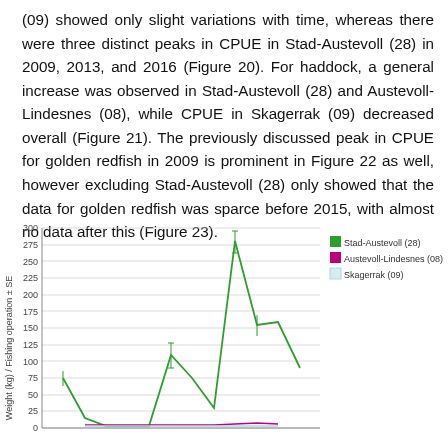(09) showed only slight variations with time, whereas there were three distinct peaks in CPUE in Stad-Austevoll (28) in 2009, 2013, and 2016 (Figure 20). For haddock, a general increase was observed in Stad-Austevoll (28) and Austevoll-Lindesnes (08), while CPUE in Skagerrak (09) decreased overall (Figure 21). The previously discussed peak in CPUE for golden redfish in 2009 is prominent in Figure 22 as well, however excluding Stad-Austevoll (28) only showed that the data for golden redfish was sparce before 2015, with almost no data after this (Figure 23).
[Figure (line-chart): Line chart showing CPUE (weight kg per fishing operation ± SE) over time for three areas: Stad-Austevoll (28) in green, Austevoll-Lindesnes (08) in magenta, Skagerrak (09) in light blue. The green line shows a prominent peak around 275-280 around 2016, with other smaller peaks. The y-axis ranges from about 0 to 300, with gridlines at 75, 100, 125, 150, 175, 200, 225, 250, 275, 300.]